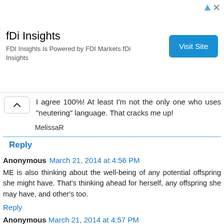[Figure (other): Advertisement banner for fDi Insights with title 'fDi Insights', subtitle 'FDI Insights Is Powered by FDI Markets fDi Insights', and a blue 'Visit Site' button]
I agree 100%! At least I'm not the only one who uses "neutering" language. That cracks me up!
MelissaR
Reply
Anonymous March 21, 2014 at 4:56 PM
ME is also thinking about the well-being of any potential off-spring she might have. That's thinking ahead for herself, any off-spring she may have, and other's too.
Reply
Anonymous March 21, 2014 at 4:57 PM